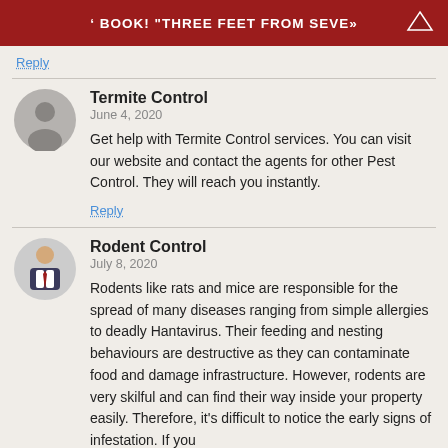BOOK! "THREE FEET FROM SEVE...
Reply
Termite Control
June 4, 2020
Get help with Termite Control services. You can visit our website and contact the agents for other Pest Control. They will reach you instantly.
Reply
Rodent Control
July 8, 2020
Rodents like rats and mice are responsible for the spread of many diseases ranging from simple allergies to deadly Hantavirus. Their feeding and nesting behaviours are destructive as they can contaminate food and damage infrastructure. However, rodents are very skilful and can find their way inside your property easily. Therefore, it's difficult to notice the early signs of infestation. If you...